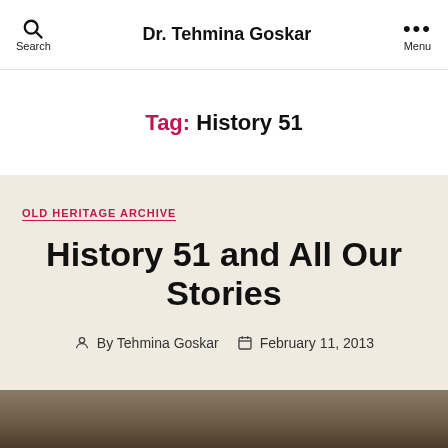Dr. Tehmina Goskar
Tag: History 51
OLD HERITAGE ARCHIVE
History 51 and All Our Stories
By Tehmina Goskar  February 11, 2013
[Figure (photo): Partial photo visible at bottom of page]